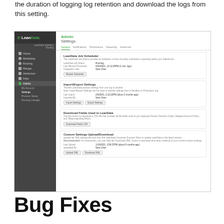the duration of logging log retention and download the logs from this setting.
[Figure (screenshot): Screenshot of LeanData Admin Settings page showing General tab with sections: LeanData Job Scheduler, Import/Export Settings, Download Fields Used in LeanData, and Custom Settings Upload/Download.]
Bug Fixes